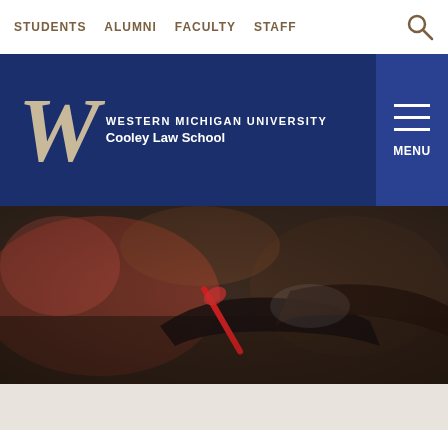STUDENTS   ALUMNI   FACULTY   STAFF
[Figure (logo): Western Michigan University Cooley Law School logo with large W and school name on dark blue background, with hamburger menu button on the right]
[Figure (photo): Close-up photo of hands holding a red pen, with blurred law books in the background]
WHAT'S NEW